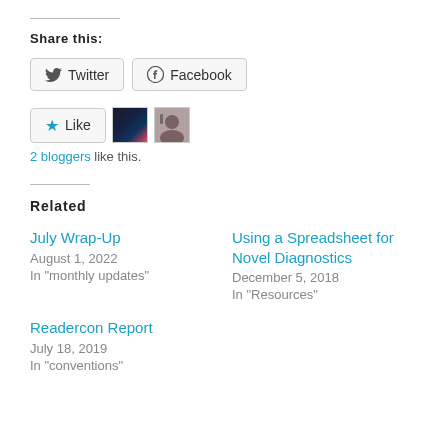Share this:
Twitter  Facebook
[Figure (other): Like button with two blogger avatar thumbnails]
2 bloggers like this.
Related
July Wrap-Up
August 1, 2022
In "monthly updates"
Using a Spreadsheet for Novel Diagnostics
December 5, 2018
In "Resources"
Readercon Report
July 18, 2019
In "conventions"